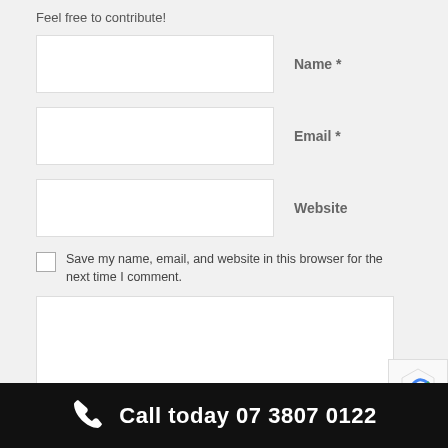Feel free to contribute!
Name *
Email *
Website
Save my name, email, and website in this browser for the next time I comment.
Call today 07 3807 0122